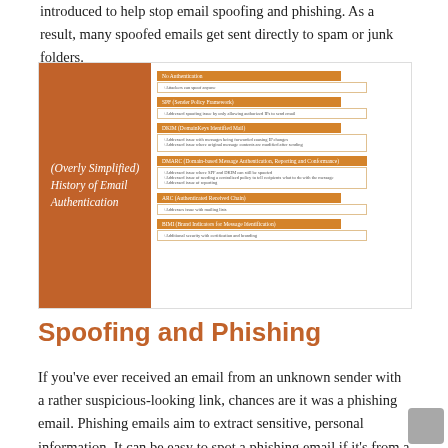introduced to help stop email spoofing and phishing. As a result, many spoofed emails get sent directly to spam or junk folders.
[Figure (infographic): Infographic titled '(Overly Simplified) History of Email Authentication' showing a timeline of email authentication standards including No Authentication, SPF (Sender Policy Framework), DKIM (DomainKeys Identified Mail), DMARC (Domain-based Message Authentication Reporting and Conformance), ARC (Authenticated Received Chain), and BIMI (Brand Indicators for Message Identification), each with a description of issues addressed.]
Spoofing and Phishing
If you've ever received an email from an unknown sender with a rather suspicious-looking link, chances are it was a phishing email. Phishing emails aim to extract sensitive, personal information. It can be easy to spot a phishing email if it's from a sender you're not familiar